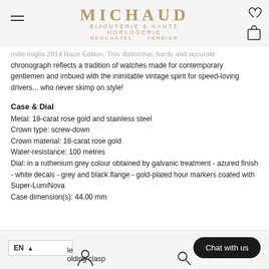MICHAUD BIJOUTERIE & HAUTE HORLOGERIE NEUCHÂTEL · VERBIER
...mille Miglia 2014 Race Edition. This distinctive, hardy and accurate chronograph reflects a tradition of watches made for contemporary gentlemen and imbued with the inimitable vintage spirit for speed-loving drivers... who never skimp on style!
Case & Dial
Metal: 18-carat rose gold and stainless steel
Crown type: screw-down
Crown material: 18-carat rose gold
Water-resistance: 100 metres
Dial: in a ruthenium grey colour obtained by galvanic treatment - azured finish - white decals - grey and black flange - gold-plated hour markers coated with Super-LumiNova
Case dimension(s): 44.00 mm
le
olding clasp
Chat with us